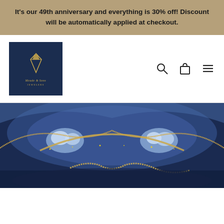It's our 49th anniversary and everything is 30% off! Discount will be automatically applied at checkout.
[Figure (logo): Meade & Sons Jewelers logo on dark navy background with gold diamond/gem icon and italic script text]
[Figure (screenshot): Navigation bar icons: search magnifier, shopping bag, and hamburger menu]
[Figure (photo): Blue agate stone with gold glitter veining — decorative hero banner image]